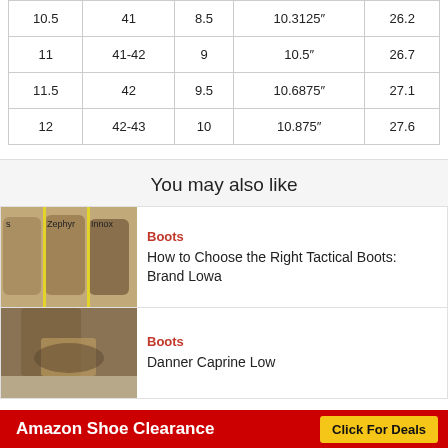| 10.5 | 41 | 8.5 | 10.3125″ | 26.2 |
| 11 | 41-42 | 9 | 10.5″ | 26.7 |
| 11.5 | 42 | 9.5 | 10.6875″ | 27.1 |
| 12 | 42-43 | 10 | 10.875″ | 27.6 |
You may also like
[Figure (photo): Comparison photo of tactical boots labeled S, Zephyr, Innox]
Boots
How to Choose the Right Tactical Boots: Brand Lowa
[Figure (photo): Photo of boots being worn outdoors]
Boots
Danner Caprine Low
Amazon Shoe Clearance  Click For Deals